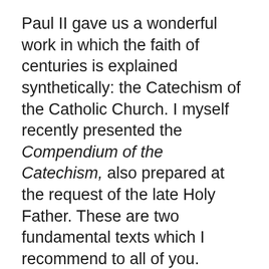Paul II gave us a wonderful work in which the faith of centuries is explained synthetically: the Catechism of the Catholic Church. I myself recently presented the Compendium of the Catechism, also prepared at the request of the late Holy Father. These are two fundamental texts which I recommend to all of you.
Obviously books alone are not enough. Form communities based on faith! In recent decades, movements and communities have come to birth in which the power of the Gospel is keenly felt. Seek communion in faith, like fellow travellers who continue together to follow the path of the great pilgrimage that the Magi from the East first pointed out to us. The spontaneity of new communities is important, but it is also important to preserve